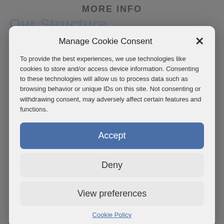MORE INFO
Manage Cookie Consent
To provide the best experiences, we use technologies like cookies to store and/or access device information. Consenting to these technologies will allow us to process data such as browsing behavior or unique IDs on this site. Not consenting or withdrawing consent, may adversely affect certain features and functions.
Accept
Deny
View preferences
Cookie Policy